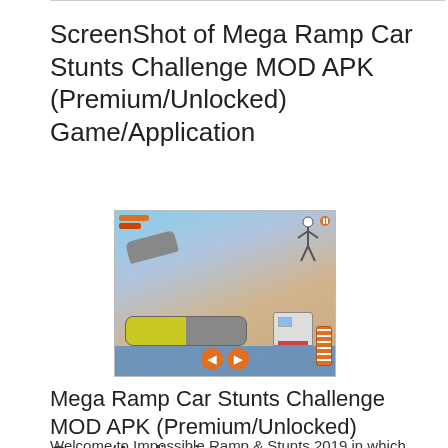ScreenShot of Mega Ramp Car Stunts Challenge MOD APK (Premium/Unlocked) Game/Application
[Figure (screenshot): Screenshot of Mega Ramp Car Stunts Challenge mobile game showing a tanker truck on a ramp with a stickman figure, crashed vehicles, and navigation buttons.]
Mega Ramp Car Stunts Challenge MOD APK (Premium/Unlocked) Game/Application –
Welcome to Impossible Ramp & Stunts 2019 in which experienced the best stunt as sky ramps and long rings ramps. It's time to beat